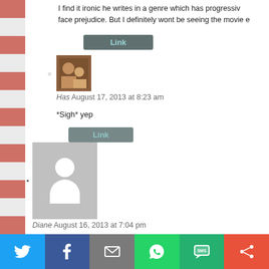I find it ironic he writes in a genre which has progressively face prejudice. But I definitely wont be seeing the movie e
[Figure (screenshot): Link button (teal-gray)]
[Figure (photo): User avatar showing a couple]
Has August 17, 2013 at 8:23 am
*Sigh* yep
[Figure (screenshot): Link button (gray)]
[Figure (illustration): Default user avatar silhouette (gray background with white person shape)]
Diane August 16, 2013 at 7:04 pm
The Melissa Mayhue sounds very good!
[Figure (screenshot): Link button (gray)]
[Figure (photo): User avatar showing a couple]
Has August 17, 2013 at 8:25 am
[Figure (screenshot): Social sharing bar with Twitter, Facebook, Email, WhatsApp, SMS, Share icons]